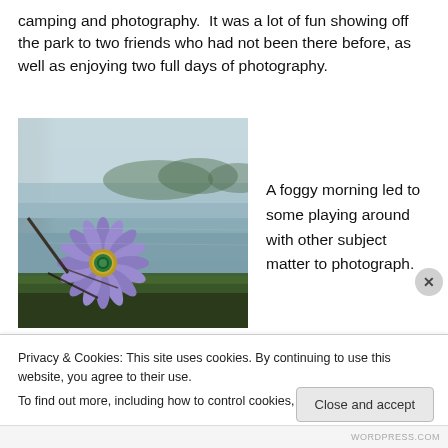camping and photography.  It was a lot of fun showing off the park to two friends who had not been there before, as well as enjoying two full days of photography.
[Figure (photo): A purple flower with green center photographed in front of a foggy lake or river, with trees and mossy ground visible. The scene is misty and atmospheric.]
A foggy morning led to some playing around with other subject matter to photograph.
Privacy & Cookies: This site uses cookies. By continuing to use this website, you agree to their use.
To find out more, including how to control cookies, see here: Cookie Policy